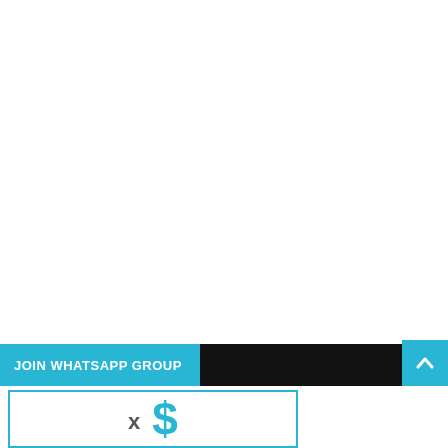[Figure (other): JOIN WHATSAPP GROUP banner bar with blue left section and black right section, plus blue up-arrow button on far right]
[Figure (other): Partial bottom card with teal border showing a teal dollar sign with x prefix, partially visible at bottom of page]